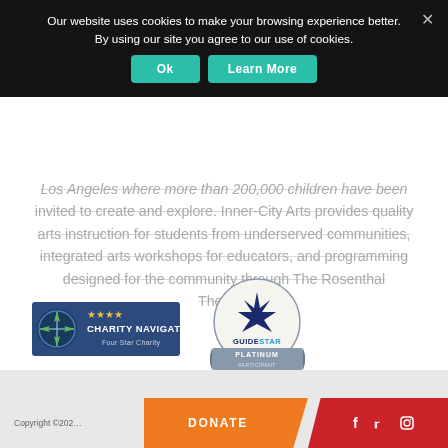Our website uses cookies to make your browsing experience better. By using our site you agree to our use of cookies.
Los Angeles where more than 200,000 children have been invited to create and explore. Inner-City Arts provides quality arts instruction for students from underserved communities, integrated arts workshops for educators, and programming designed for the community through The Rosenthal Theater.
[Figure (logo): Charity Navigator Four Star Charity badge]
[Figure (logo): GuideStar Platinum Participant badge]
Copyright ©2021   DONATE
Facebook Twitter Instagram social icons